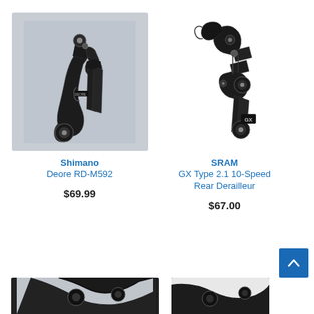[Figure (photo): Shimano Deore RD-M592 rear derailleur, black, on light grey background]
Shimano
Deore RD-M592
$69.99
[Figure (photo): SRAM GX Type 2.1 10-Speed Rear Derailleur, black, on white background]
SRAM
GX Type 2.1 10-Speed Rear Derailleur
$67.00